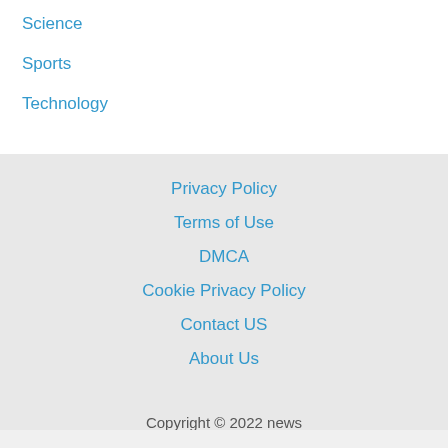Science
Sports
Technology
Privacy Policy
Terms of Use
DMCA
Cookie Privacy Policy
Contact US
About Us
Copyright © 2022 news